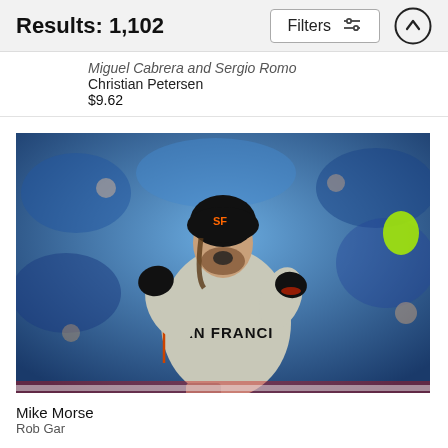Results: 1,102
Miguel Cabrera and Sergio Romo
Christian Petersen
$9.62
[Figure (photo): San Francisco Giants player Mike Morse in a gray San Francisco jersey, celebrating with fist pumping and mouth open, with a crowd of fans in blue in the background.]
Mike Morse
Rob Gar...